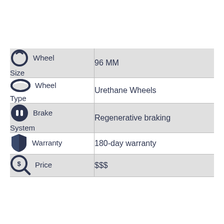| Feature | Value |
| --- | --- |
| Wheel Size | 96 MM |
| Wheel Type | Urethane Wheels |
| Brake System | Regenerative braking |
| Warranty | 180-day warranty |
| Price | $$$ |